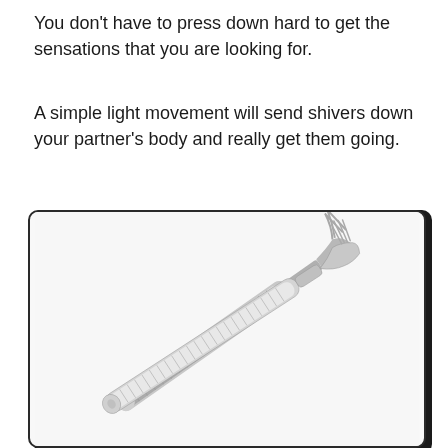You don't have to press down hard to get the sensations that you are looking for.
A simple light movement will send shivers down your partner's body and really get them going.
[Figure (photo): A stainless steel back scratcher / fork-like tool with a ribbed handle, shown diagonally against a white background inside a rounded rectangle border.]